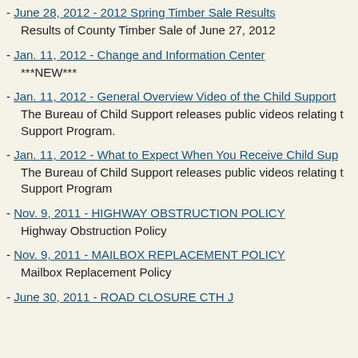- June 28, 2012 - 2012 Spring Timber Sale Results
Results of County Timber Sale of June 27, 2012
- Jan. 11, 2012 - Change and Information Center
***NEW***
- Jan. 11, 2012 - General Overview Video of the Child Support
The Bureau of Child Support releases public videos relating to the Child Support Program.
- Jan. 11, 2012 - What to Expect When You Receive Child Support
The Bureau of Child Support releases public videos relating to the Child Support Program
- Nov. 9, 2011 - HIGHWAY OBSTRUCTION POLICY
Highway Obstruction Policy
- Nov. 9, 2011 - MAILBOX REPLACEMENT POLICY
Mailbox Replacement Policy
- June 30, 2011 - ROAD CLOSURE CTH J